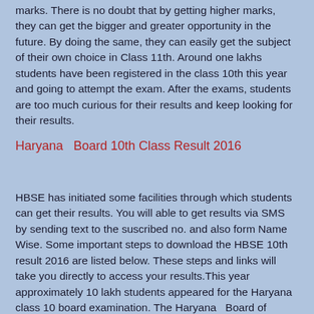marks. There is no doubt that by getting higher marks, they can get the bigger and greater opportunity in the future. By doing the same, they can easily get the subject of their own choice in Class 11th. Around one lakhs students have been registered in the class 10th this year and going to attempt the exam. After the exams, students are too much curious for their results and keep looking for their results.
Haryana  Board 10th Class Result 2016
HBSE has initiated some facilities through which students can get their results. You will able to get results via SMS by sending text to the suscribed no. and also form Name Wise. Some important steps to download the HBSE 10th result 2016 are listed below. These steps and links will take you directly to access your results.This year approximately 10 lakh students appeared for the Haryana  class 10 board examination. The Haryana  Board of Secondary Education (HBSE) or Board of Secondary Education, Haryana  (BSER) conducted class 10 examination from March 19, 2015 to...